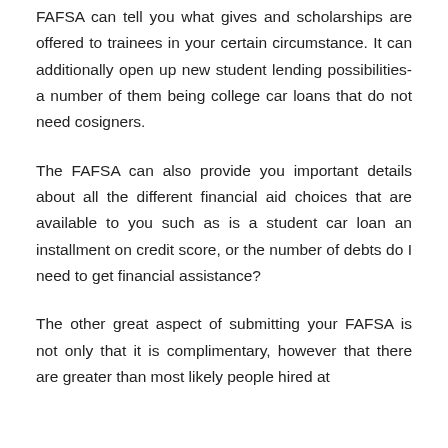FAFSA can tell you what gives and scholarships are offered to trainees in your certain circumstance. It can additionally open up new student lending possibilities- a number of them being college car loans that do not need cosigners.
The FAFSA can also provide you important details about all the different financial aid choices that are available to you such as is a student car loan an installment on credit score, or the number of debts do I need to get financial assistance?
The other great aspect of submitting your FAFSA is not only that it is complimentary, however that there are greater than most likely people hired at